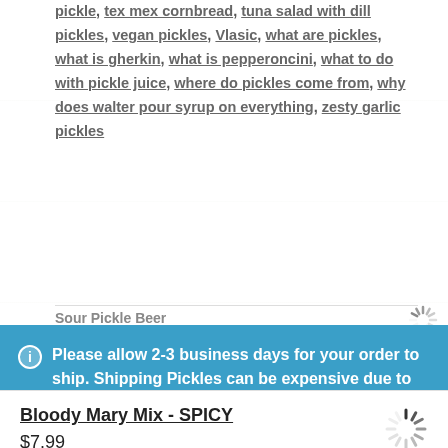pickle, tex mex cornbread, tuna salad with dill pickles, vegan pickles, Vlasic, what are pickles, what is gherkin, what is pepperoncini, what to do with pickle juice, where do pickles come from, why does walter pour syrup on everything, zesty garlic pickles
Sour Pickle Beer
Please allow 2-3 business days for your order to ship. Shipping Pickles can be expensive due to their weight. Best Maid negotiates the best possible rates with UPS.
Dismiss
Bloody Mary Mix - SPICY
$7.99